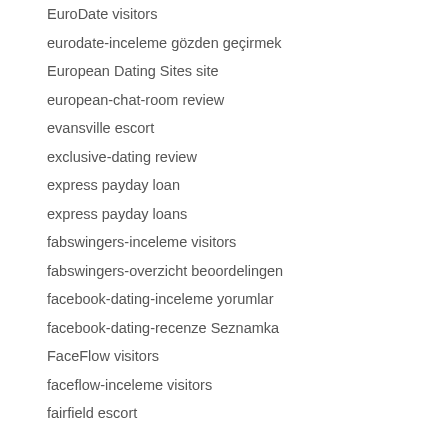EuroDate visitors
eurodate-inceleme gözden geçirmek
European Dating Sites site
european-chat-room review
evansville escort
exclusive-dating review
express payday loan
express payday loans
fabswingers-inceleme visitors
fabswingers-overzicht beoordelingen
facebook-dating-inceleme yorumlar
facebook-dating-recenze Seznamka
FaceFlow visitors
faceflow-inceleme visitors
fairfield escort